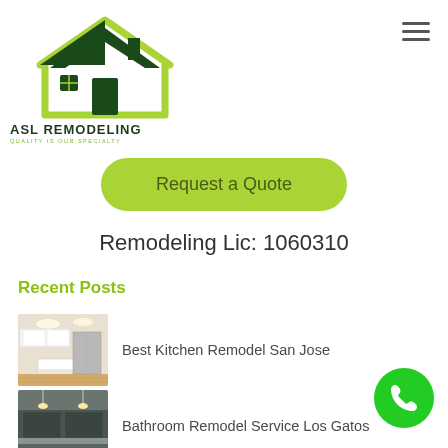[Figure (logo): ASL Remodeling logo with house icon in dark green and yellow-green, text 'ASL REMODELING' and tagline 'QUALITY IS OUR SPECIALTY']
[Figure (illustration): Hamburger/menu icon with three horizontal lines]
Request a Quote
Remodeling Lic: 1060310
Recent Posts
[Figure (photo): White modern kitchen remodel photo]
Best Kitchen Remodel San Jose
[Figure (photo): Dark modern bathroom remodel photo]
Bathroom Remodel Service Los Gatos
[Figure (illustration): Green circular phone/call button]